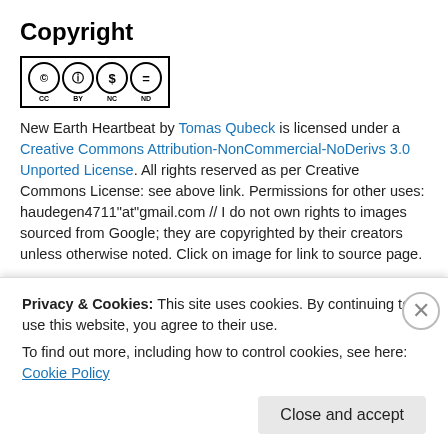Copyright
[Figure (logo): Creative Commons BY NC ND license logo]
New Earth Heartbeat by Tomas Qubeck is licensed under a Creative Commons Attribution-NonCommercial-NoDerivs 3.0 Unported License. All rights reserved as per Creative Commons License: see above link. Permissions for other uses: haudegen4711"at"gmail.com // I do not own rights to images sourced from Google; they are copyrighted by their creators unless otherwise noted. Click on image for link to source page.
[Figure (other): Advertisements bar with purple gradient sections]
Privacy & Cookies: This site uses cookies. By continuing to use this website, you agree to their use.
To find out more, including how to control cookies, see here: Cookie Policy
Close and accept